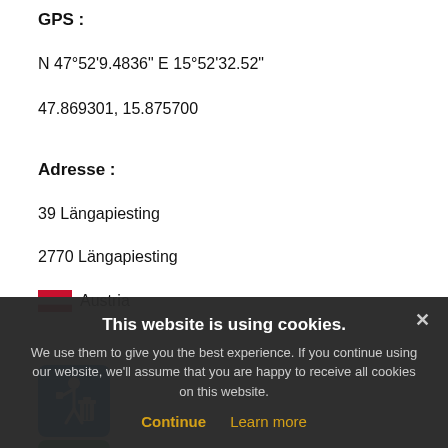GPS :
N 47°52'9.4836" E 15°52'32.52"
47.869301, 15.875700
Adresse :
39 Längapiesting
2770 Längapiesting
Austria
[Figure (illustration): Blue square icon with white figure throwing trash into a bin]
[Figure (illustration): Green square icon with white figure, partially visible]
This website is using cookies.
We use them to give you the best experience. If you continue using our website, we'll assume that you are happy to receive all cookies on this website.
Continue  Learn more